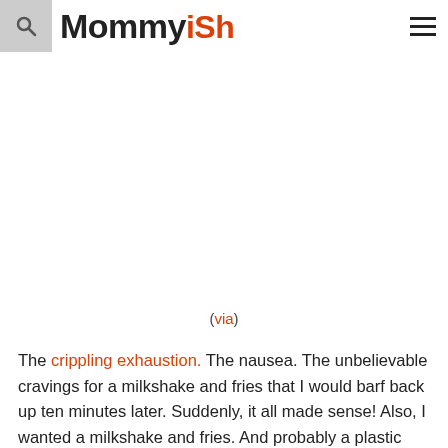Mommyish
(via)
The crippling exhaustion. The nausea. The unbelievable cravings for a milkshake and fries that I would barf back up ten minutes later. Suddenly, it all made sense! Also, I wanted a milkshake and fries. And probably a plastic bag, to be on the safe side.